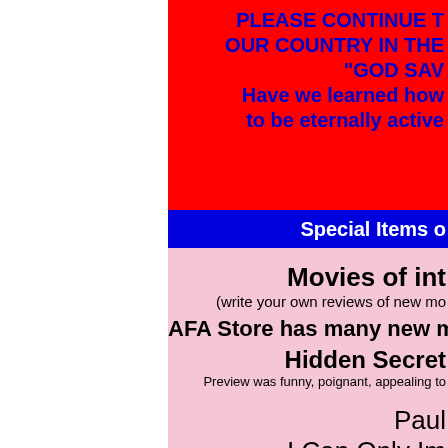PLEASE CONTINUE T OUR COUNTRY IN THE "GOD SAV Have we learned how to be eternally active
Special Items o
Movies of int
(write your own reviews of new mo
AFA Store has many new mo
Hidden Secret
Preview was funny, poignant, appealing to
Paul
I Can Only Im
Mully